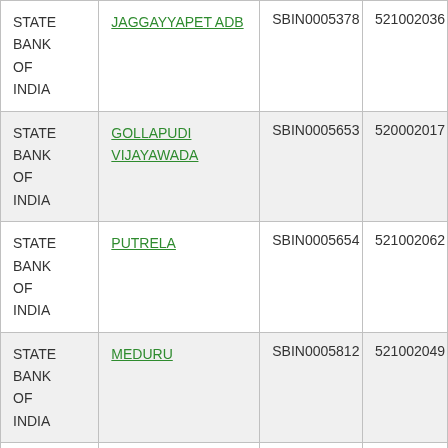| STATE BANK OF INDIA | JAGGAYYAPET ADB | SBIN0005378 | 521002036 |
| STATE BANK OF INDIA | GOLLAPUDI VIJAYAWADA | SBIN0005653 | 520002017 |
| STATE BANK OF INDIA | PUTRELA | SBIN0005654 | 521002062 |
| STATE BANK OF INDIA | MEDURU | SBIN0005812 | 521002049 |
| STATE BANK OF INDIA | KABILESHWARA | SBIN0005818 | 521002048 |